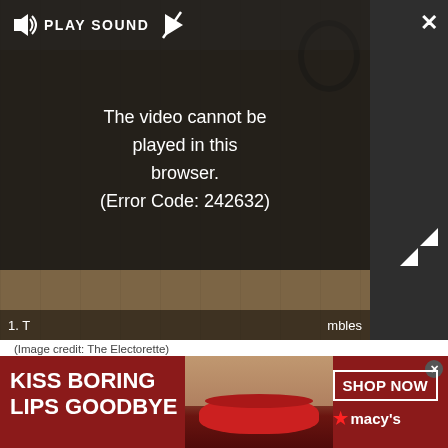[Figure (screenshot): Video player showing error message 'The video cannot be played in this browser. (Error Code: 242632)' with play sound bar and dark overlay on brownish thumbnail background.]
(Image credit: The Electorette)
Found: A politically savvy podcast for intersectional feminists. The Electorette features women who are leading the fight for equality, from Thalia Gonzalez, author of Girlhood Interrupted, to Rita Bosworth of The Sister District Project.
[Figure (photo): Advertisement banner for Macy's lip product. Red background with text 'KISS BORING LIPS GOODBYE', photo of woman's face with red lips, and 'SHOP NOW' button with Macy's star logo.]